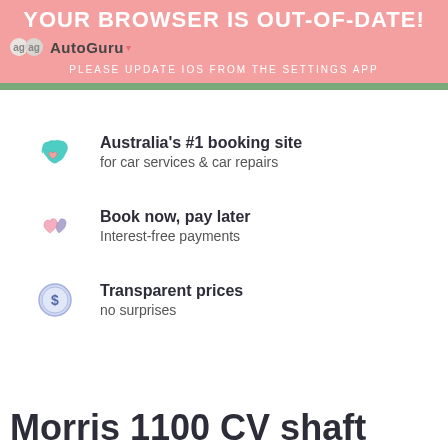YOUR BROWSER IS OUT-OF-DATE!
[Figure (logo): AutoGuru logo with two circular 'ag' icons and a dropdown arrow]
PLEASE UPDATE IOS FROM THE SETTINGS APP
Australia's #1 booking site for car services & car repairs
Book now, pay later Interest-free payments
Transparent prices no surprises
Morris 1100 CV shaft